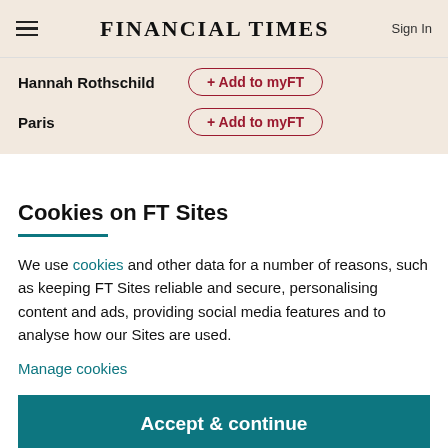FINANCIAL TIMES
Hannah Rothschild   + Add to myFT
Paris   + Add to myFT
Cookies on FT Sites
We use cookies and other data for a number of reasons, such as keeping FT Sites reliable and secure, personalising content and ads, providing social media features and to analyse how our Sites are used.
Manage cookies
Accept & continue